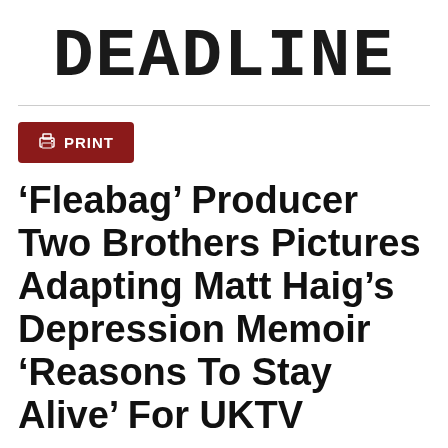DEADLINE
[Figure (other): Print button with printer icon, dark red background]
'Fleabag' Producer Two Brothers Pictures Adapting Matt Haig’s Depression Memoir ‘Reasons To Stay Alive’ For UKTV
By Peter White
February 4, 2019 7:30am